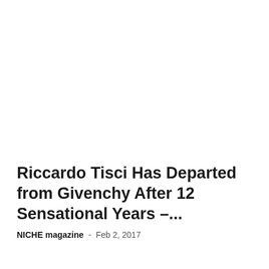Riccardo Tisci Has Departed from Givenchy After 12 Sensational Years –...
NICHE magazine  -  Feb 2, 2017